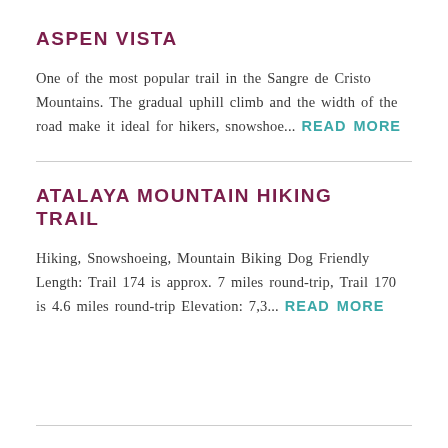ASPEN VISTA
One of the most popular trail in the Sangre de Cristo Mountains. The gradual uphill climb and the width of the road make it ideal for hikers, snowshoe... READ MORE
ATALAYA MOUNTAIN HIKING TRAIL
Hiking, Snowshoeing, Mountain Biking Dog Friendly Length: Trail 174 is approx. 7 miles round-trip, Trail 170 is 4.6 miles round-trip Elevation: 7,3... READ MORE